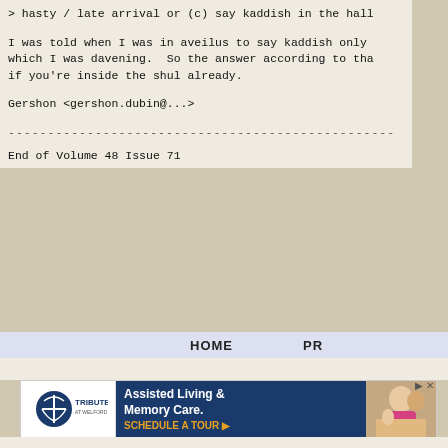> hasty / late arrival or (c) say kaddish in the hall
I was told when I was in aveilus to say kaddish only which I was davening.  So the answer according to tha if you're inside the shul already.
Gershon
<gershon.dubin@...>
----------------------------------------------
End of Volume 48 Issue 71
HOME   PR
[Figure (other): Advertisement for Tribute at Melford: Assisted Living & Memory Care. Schedule a Tour.]